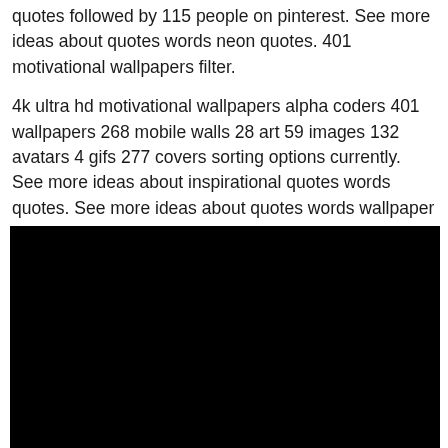quotes followed by 115 people on pinterest. See more ideas about quotes words neon quotes. 401 motivational wallpapers filter.
4k ultra hd motivational wallpapers alpha coders 401 wallpapers 268 mobile walls 28 art 59 images 132 avatars 4 gifs 277 covers sorting options currently. See more ideas about inspirational quotes words quotes. See more ideas about quotes words wallpaper quotes.
[Figure (photo): A large black rectangular image, appearing as a dark/black photo or placeholder image.]